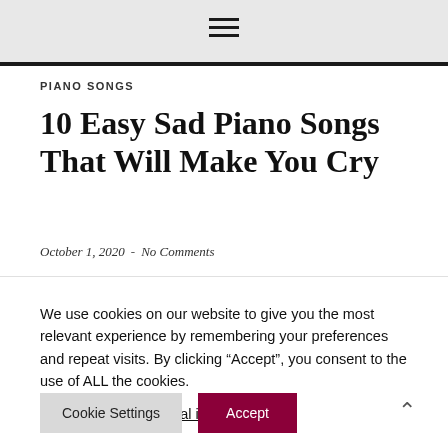[Figure (screenshot): Website header with hamburger menu icon on grey background with dark bottom border]
PIANO SONGS
10 Easy Sad Piano Songs That Will Make You Cry
October 1, 2020  -  No Comments
We use cookies on our website to give you the most relevant experience by remembering your preferences and repeat visits. By clicking “Accept”, you consent to the use of ALL the cookies.
Do not sell my personal information.